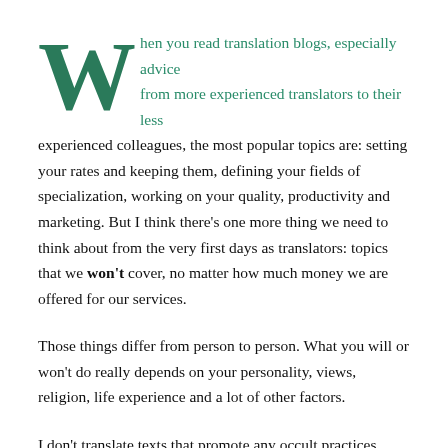When you read translation blogs, especially advice from more experienced translators to their less experienced colleagues, the most popular topics are: setting your rates and keeping them, defining your fields of specialization, working on your quality, productivity and marketing. But I think there's one more thing we need to think about from the very first days as translators: topics that we won't cover, no matter how much money we are offered for our services.
Those things differ from person to person. What you will or won't do really depends on your personality, views, religion, life experience and a lot of other factors.
I don't translate texts that promote any occult practices